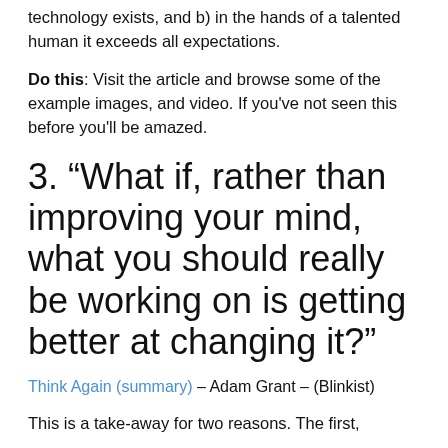technology exists, and b) in the hands of a talented human it exceeds all expectations.
Do this: Visit the article and browse some of the example images, and video. If you've not seen this before you'll be amazed.
3. “What if, rather than improving your mind, what you should really be working on is getting better at changing it?”
Think Again (summary) – Adam Grant – (Blinkist)
This is a take-away for two reasons. The first,